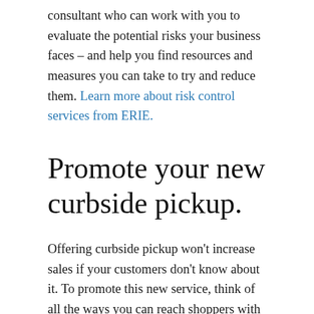consultant who can work with you to evaluate the potential risks your business faces – and help you find resources and measures you can take to try and reduce them. Learn more about risk control services from ERIE.
Promote your new curbside pickup.
Offering curbside pickup won't increase sales if your customers don't know about it. To promote this new service, think of all the ways you can reach shoppers with the news. Some options may include print and digital advertising, social media marketing,